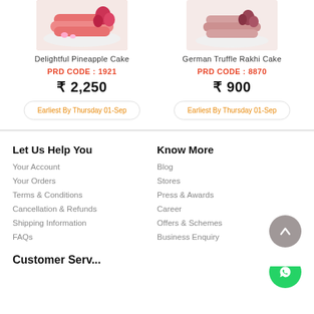[Figure (photo): Pink layered pineapple cake with flowers on white plate]
Delightful Pineapple Cake
PRD CODE : 1921
₹ 2,250
Earliest By Thursday 01-Sep
German Truffle Rakhi Cake
PRD CODE : 8870
₹ 900
Earliest By Thursday 01-Sep
Let Us Help You
Your Account
Your Orders
Terms & Conditions
Cancellation & Refunds
Shipping Information
FAQs
Privacy Policy
Know More
Blog
Stores
Press & Awards
Career
Offers & Schemes
Business Enquiry
Bakery Institute